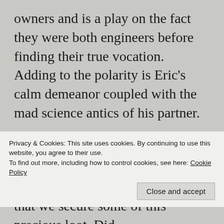owners and is a play on the fact they were both engineers before finding their true vocation. Adding to the polarity is Eric's calm demeanor coupled with the mad science antics of his partner.
I asked the enthusiastic waitress for menu recommendations. She recommended pretty much everything on the menu but in particular raved about he CSB buns. They cook them hourly and getting one might be synonymous
Privacy & Cookies: This site uses cookies. By continuing to use this website, you agree to their use.
To find out more, including how to control cookies, see here: Cookie Policy
that we secure some of this precious loot. Did